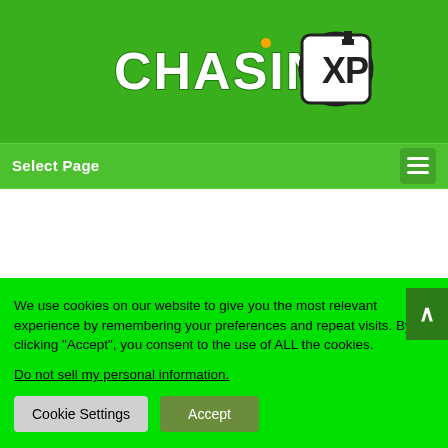[Figure (logo): Chasing XP logo in white pixel-style text on green background with XP badge]
Select Page
We use cookies on our website to give you the most relevant experience by remembering your preferences and repeat visits. By clicking “Accept”, you consent to the use of ALL the cookies.
Do not sell my personal information.
Cookie Settings  Accept